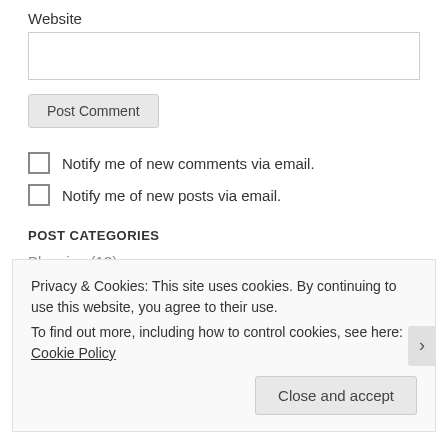Website
[Figure (other): Website text input field (empty)]
Post Comment
Notify me of new comments via email.
Notify me of new posts via email.
POST CATEGORIES
Blogging (13)
Privacy & Cookies: This site uses cookies. By continuing to use this website, you agree to their use.
To find out more, including how to control cookies, see here: Cookie Policy
Close and accept